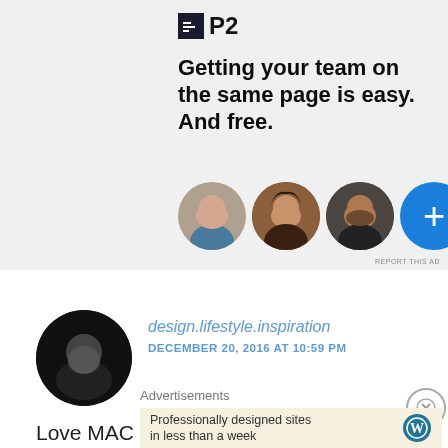[Figure (screenshot): P2 app advertisement showing logo, headline 'Getting your team on the same page is easy. And free.' with three circular avatar photos and a blue plus button]
REPORT THIS AD
[Figure (photo): Black and white circular profile photo of a person]
design.lifestyle.inspiration
DECEMBER 20, 2016 AT 10:59 PM
Love MAC lipsticks....and I love that color, I have one
Advertisements
[Figure (screenshot): WordPress advertisement: 'Professionally designed sites in less than a week' with WordPress logo]